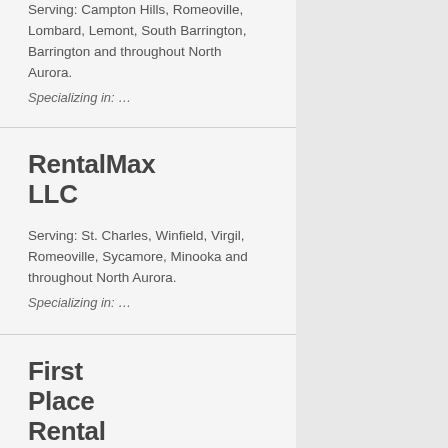Serving: Campton Hills, Romeoville, Lombard, Lemont, South Barrington, Barrington and throughout North Aurora.
Specializing in: …
RentalMax LLC
Serving: St. Charles, Winfield, Virgil, Romeoville, Sycamore, Minooka and throughout North Aurora.
Specializing in: …
First Place Rental